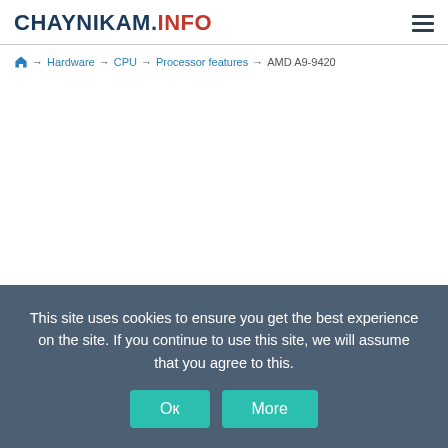CHAYNIKAM.Info
Home → Hardware → CPU → Processor features → AMD A9-9420
This site uses cookies to ensure you get the best experience on the site. If you continue to use this site, we will assume that you agree to this.
Ok  More